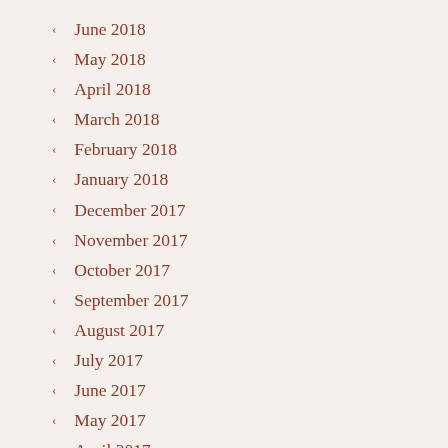June 2018
May 2018
April 2018
March 2018
February 2018
January 2018
December 2017
November 2017
October 2017
September 2017
August 2017
July 2017
June 2017
May 2017
April 2017
March 2017
February 2017
January 2017